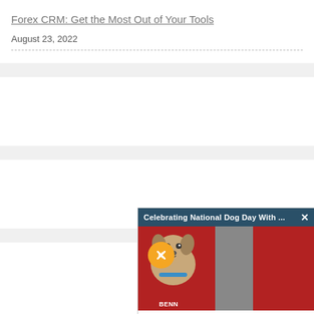Forex CRM: Get the Most Out of Your Tools
August 23, 2022
[Figure (screenshot): Empty white card placeholder]
[Figure (screenshot): Empty white card placeholder]
Take advantage of Smar... company with professio...
[Figure (photo): Popup overlay showing 'Celebrating National Dog Day With ...' with a photo of a small terrier dog (Benny) against a red background, with a mute button and close X button]
[Figure (screenshot): Empty white card placeholder at bottom]